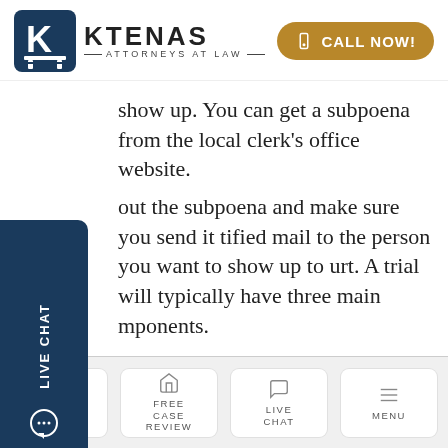[Figure (logo): Ktenas Attorneys at Law logo with K icon and gold CALL NOW button]
show up. You can get a subpoena from the local clerk's office website.
out the subpoena and make sure you send it tified mail to the person you want to show up to urt. A trial will typically have three main mponents.
Opening statements
[Figure (screenshot): Bottom navigation bar with HOME, FREE CASE REVIEW, LIVE CHAT, MENU icons]